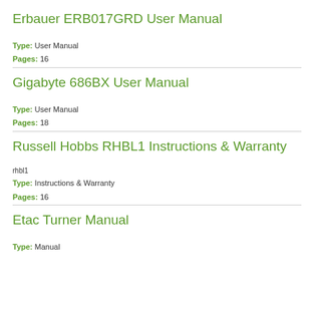Erbauer ERB017GRD User Manual
Type: User Manual
Pages: 16
Gigabyte 686BX User Manual
Type: User Manual
Pages: 18
Russell Hobbs RHBL1 Instructions & Warranty
rhbl1
Type: Instructions & Warranty
Pages: 16
Etac Turner Manual
Type: Manual